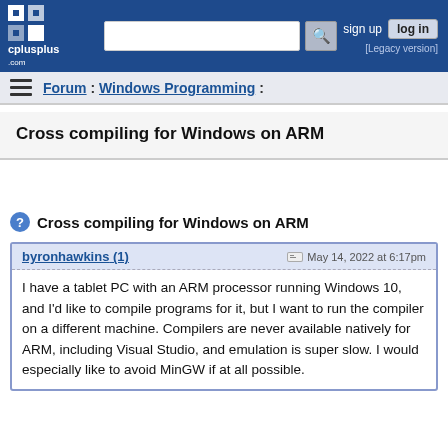cplusplus.com — sign up  log in  [Legacy version]
Forum : Windows Programming :
Cross compiling for Windows on ARM
Cross compiling for Windows on ARM
byronhawkins (1)  May 14, 2022 at 6:17pm  I have a tablet PC with an ARM processor running Windows 10, and I'd like to compile programs for it, but I want to run the compiler on a different machine. Compilers are never available natively for ARM, including Visual Studio, and emulation is super slow. I would especially like to avoid MinGW if at all possible.